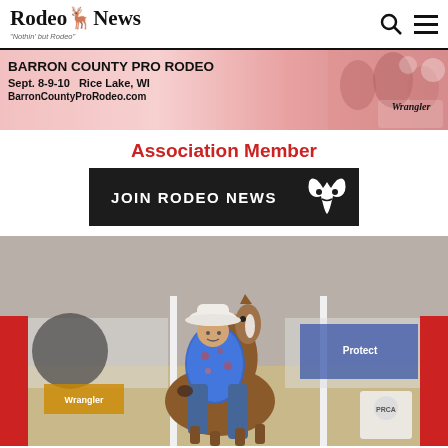Rodeo News — "Nothin' but Rodeo"
[Figure (infographic): Barron County Pro Rodeo banner advertisement. Pink/red background with rodeo action photos on the right side and Wrangler logo. Text: BARRON COUNTY PRO RODEO, Sept. 8-9-10 Rice Lake, WI, BarronCountyProRodeo.com]
Association Member
[Figure (infographic): Black button/banner with white text reading JOIN RODEO NEWS with a steer skull/horns icon on the right side]
[Figure (photo): Rodeo action photo showing a young rider in a white cowboy hat and blue floral shirt on a brown horse, riding in an indoor arena. Red arena barriers visible in background with sponsor logos including Wrangler and Protect.]